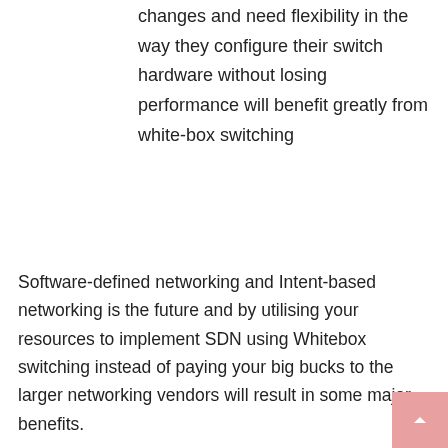changes and need flexibility in the way they configure their switch hardware without losing performance will benefit greatly from white-box switching
Software-defined networking and Intent-based networking is the future and by utilising your resources to implement SDN using Whitebox switching instead of paying your big bucks to the larger networking vendors will result in some major benefits.
[Figure (infographic): Row of six social share buttons: Facebook (blue), Twitter (light blue), Email (black), LinkedIn (blue), Telegram (cyan), Pinterest (red)]
« Network Security – Best Practices    SonicWall TZ300 Setup »